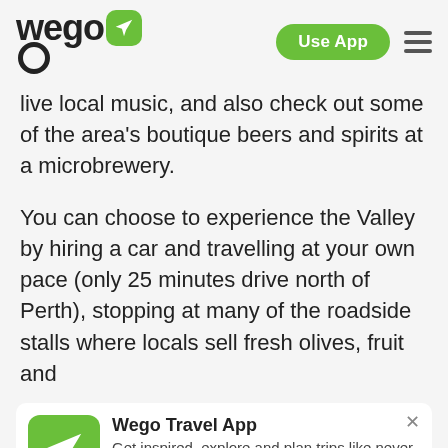[Figure (logo): Wego logo with airplane icon in green rounded square, plus 'Use App' green button and hamburger menu icon]
live local music, and also check out some of the area's boutique beers and spirits at a microbrewery.
You can choose to experience the Valley by hiring a car and travelling at your own pace (only 25 minutes drive north of Perth), stopping at many of the roadside stalls where locals sell fresh olives, fruit and
[Figure (infographic): Wego Travel App promotional banner with green airplane icon, title 'Wego Travel App', description 'Get inspired, explore and plan trips like never before!', 4.5 star rating and 250k reviews, X close button, and orange DOWNLOAD APP NOW button]